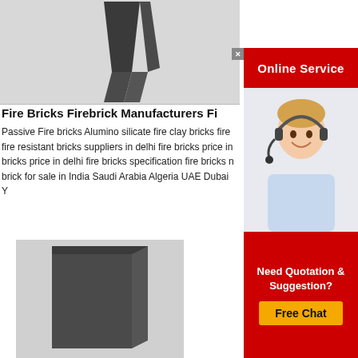[Figure (photo): Dark gray fire brick / wedge-shaped refractory brick, top product image]
Fire Bricks Firebrick Manufacturers Fi
Passive Fire bricks Alumino silicate fire clay bricks fire fire resistant bricks suppliers in delhi fire bricks price in bricks price in delhi fire bricks specification fire bricks n brick for sale in India Saudi Arabia Algeria UAE Dubai Y
[Figure (photo): Online Service banner with headset-wearing female agent photo]
[Figure (photo): Need Quotation & Suggestion? Free Chat banner]
[Figure (photo): Dark gray fire brick / refractory brick, bottom product image]